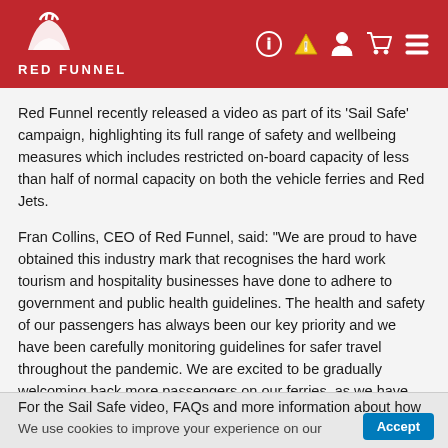RED FUNNEL
Red Funnel recently released a video as part of its ‘Sail Safe’ campaign, highlighting its full range of safety and wellbeing measures which includes restricted on-board capacity of less than half of normal capacity on both the vehicle ferries and Red Jets.
Fran Collins, CEO of Red Funnel, said: “We are proud to have obtained this industry mark that recognises the hard work tourism and hospitality businesses have done to adhere to government and public health guidelines. The health and safety of our passengers has always been our key priority and we have been carefully monitoring guidelines for safer travel throughout the pandemic. We are excited to be gradually welcoming back more passengers on our ferries, as we have recently resumed our Hi-Speed Red Jet service and increased our vehicle ferry crossings.”
For the Sail Safe video, FAQs and more information about how
We use cookies to improve your experience on our